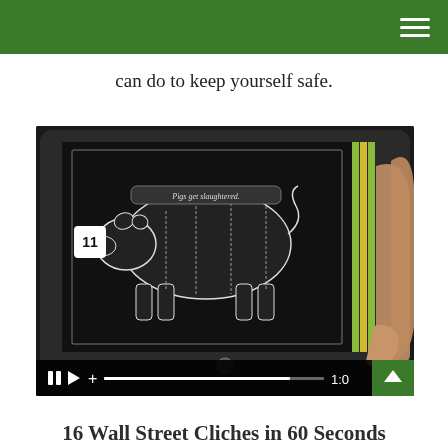can do to keep yourself safe.
[Figure (screenshot): A person holding a tablet displaying a pig butchering diagram (cuts of pork) on a dark background. The screen shows a chalk-style illustration of a pig with cuts labeled. Video player controls are visible at the bottom of the image including pause, play, add, a progress bar, and a time display showing 1:0.]
16 Wall Street Cliches in 60 Seconds